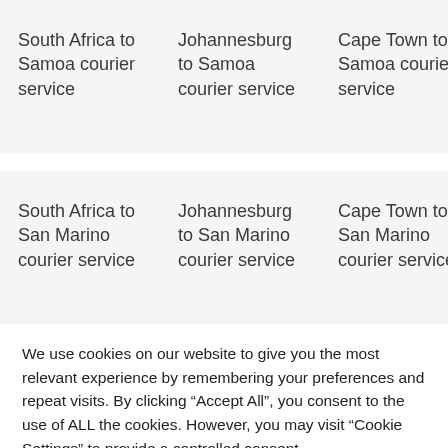South Africa to Samoa courier service
Johannesburg to Samoa courier service
Cape Town to Samoa courier service
Dur... San... cou... ser...
South Africa to San Marino courier service
Johannesburg to San Marino courier service
Cape Town to San Marino courier service
Dur... San... cou... ser...
We use cookies on our website to give you the most relevant experience by remembering your preferences and repeat visits. By clicking “Accept All”, you consent to the use of ALL the cookies. However, you may visit “Cookie Settings” to provide a controlled consent.
Cookie Settings
Accept All
Privacy Policy